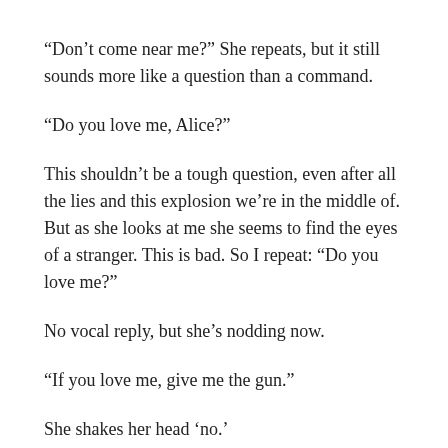“Don’t come near me?” She repeats, but it still sounds more like a question than a command.
“Do you love me, Alice?”
This shouldn’t be a tough question, even after all the lies and this explosion we’re in the middle of. But as she looks at me she seems to find the eyes of a stranger. This is bad. So I repeat: “Do you love me?”
No vocal reply, but she’s nodding now.
“If you love me, give me the gun.”
She shakes her head ‘no.’
She looks away for a second. That’s all I need.